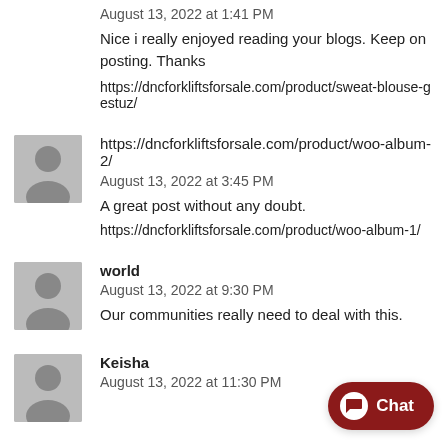August 13, 2022 at 1:41 PM
Nice i really enjoyed reading your blogs. Keep on posting. Thanks
https://dncforkliftsforsale.com/product/sweat-blouse-gestuz/
[Figure (photo): Gray placeholder avatar icon]
https://dncforkliftsforsale.com/product/woo-album-2/
August 13, 2022 at 3:45 PM
A great post without any doubt.
https://dncforkliftsforsale.com/product/woo-album-1/
[Figure (photo): Gray placeholder avatar icon]
world
August 13, 2022 at 9:30 PM
Our communities really need to deal with this.
[Figure (photo): Gray placeholder avatar icon]
Keisha
August 13, 2022 at 11:30 PM